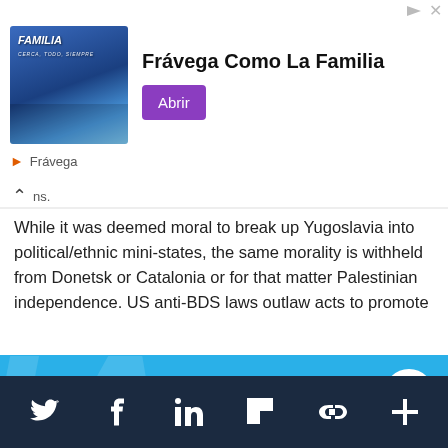[Figure (screenshot): Advertisement banner for Frávega with image of people and text 'Frávega Como La Familia' with purple 'Abrir' button]
ns.
While it was deemed moral to break up Yugoslavia into political/ethnic mini-states, the same morality is withheld from Donetsk or Catalonia or for that matter Palestinian independence. US anti-BDS laws outlaw acts to promote
Support IA
Subscribe to IA and investigate Australia today.
Close  Subscribe  Donate
Social share icons: Twitter, Facebook, LinkedIn, Flipboard, Link, More